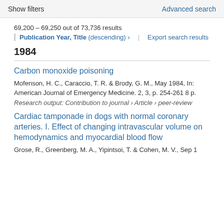Show filters    Advanced search
69,200 – 69,250 out of 73,736 results
Publication Year, Title (descending) ›    Export search results
1984
Carbon monoxide poisoning
Mofenson, H. C., Caraccio, T. R. & Brody, G. M., May 1984, In: American Journal of Emergency Medicine. 2, 3, p. 254-261 8 p.
Research output: Contribution to journal › Article › peer-review
Cardiac tamponade in dogs with normal coronary arteries. I. Effect of changing intravascular volume on hemodynamics and myocardial blood flow
Grose, R., Greenberg, M. A., Yipintsoi, T. & Cohen, M. V., Sep 1